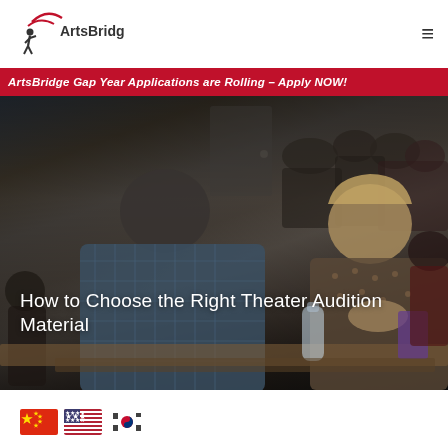ArtsBridge
ArtsBridge Gap Year Applications are Rolling – Apply NOW!
[Figure (photo): Theater audition panel scene: judges/directors seated at a table watching auditions, including a man in a blue plaid shirt and a blonde woman with hands clasped, with other people visible in the background in a darkened theater setting.]
How to Choose the Right Theater Audition Material
[Figure (infographic): Three national flag icons in a row: China (red with gold stars), United States (stars and stripes), South Korea (Taegukgi).]